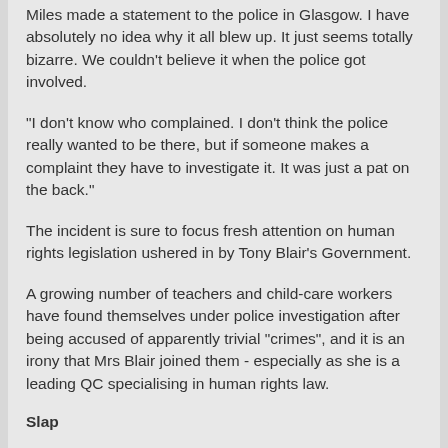Miles made a statement to the police in Glasgow. I have absolutely no idea why it all blew up. It just seems totally bizarre. We couldn't believe it when the police got involved.
"I don't know who complained. I don't think the police really wanted to be there, but if someone makes a complaint they have to investigate it. It was just a pat on the back."
The incident is sure to focus fresh attention on human rights legislation ushered in by Tony Blair's Government.
A growing number of teachers and child-care workers have found themselves under police investigation after being accused of apparently trivial "crimes", and it is an irony that Mrs Blair joined them - especially as she is a leading QC specialising in human rights law.
Slap
Miles, from Orpington, Kent, who was captaining the England under-17 epee fencing team, had asked to be pictured with Mrs Blair when she attended the games last Saturday. She agreed - only to find that the youngster put his arm around her and raised